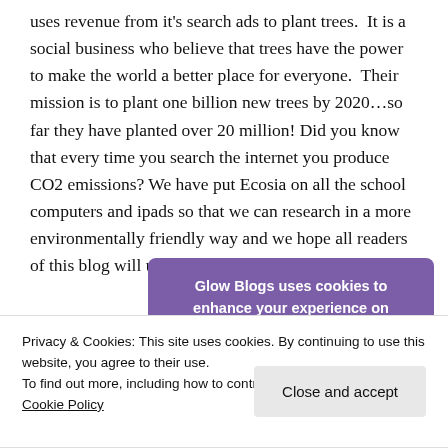uses revenue from it's search ads to plant trees.  It is a social business who believe that trees have the power to make the world a better place for everyone.  Their mission is to plant one billion new trees by 2020…so far they have planted over 20 million! Did you know that every time you search the internet you produce CO2 emissions? We have put Ecosia on all the school computers and ipads so that we can research in a more environmentally friendly way and we hope all readers of this blog will use Ecosia too!
Glow Blogs uses cookies to enhance your experience on
Privacy & Cookies: This site uses cookies. By continuing to use this website, you agree to their use.
To find out more, including how to control cookies, see here: Cookie Policy
Close and accept